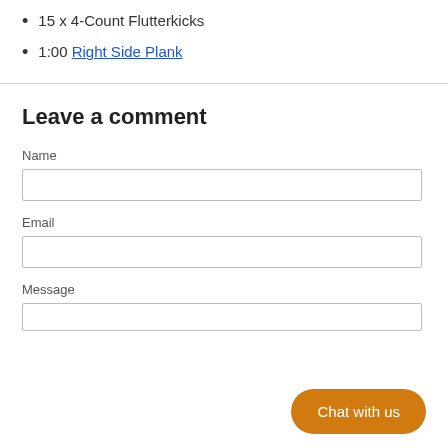15 x 4-Count Flutterkicks
1:00 Right Side Plank
Leave a comment
Name
Email
Message